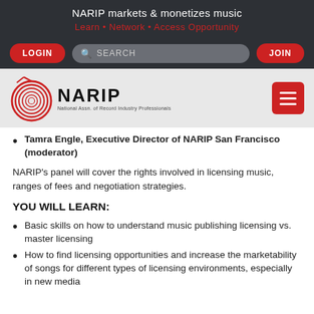NARIP markets & monetizes music
Learn • Network • Access Opportunity
[Figure (screenshot): Navigation bar with LOGIN button, SEARCH bar, and JOIN button on dark background]
[Figure (logo): NARIP logo with spiral graphic and text 'National Assn. of Record Industry Professionals', plus red hamburger menu button]
Tamra Engle, Executive Director of NARIP San Francisco (moderator)
NARIP's panel will cover the rights involved in licensing music, ranges of fees and negotiation strategies.
YOU WILL LEARN:
Basic skills on how to understand music publishing licensing vs. master licensing
How to find licensing opportunities and increase the marketability of songs for different types of licensing environments, especially in new media